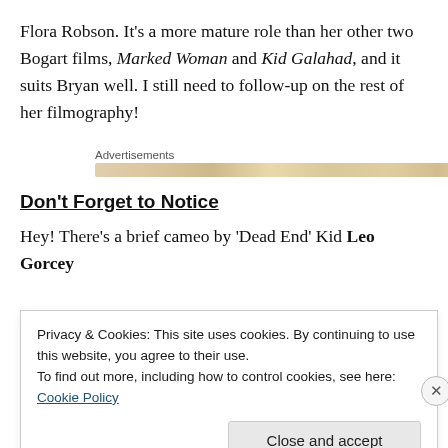Flora Robson. It's a more mature role than her other two Bogart films, Marked Woman and Kid Galahad, and it suits Bryan well. I still need to follow-up on the rest of her filmography!
Advertisements
[Figure (other): Advertisement banner with tan/gold colored decorative images]
Don't Forget to Notice
Hey! There's a brief cameo by 'Dead End' Kid Leo Gorcey
Privacy & Cookies: This site uses cookies. By continuing to use this website, you agree to their use.
To find out more, including how to control cookies, see here: Cookie Policy
Close and accept